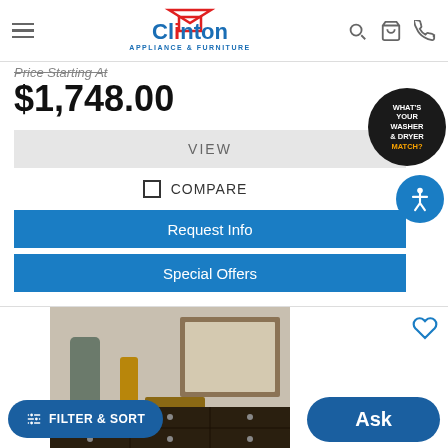Clinton Appliance & Furniture
Price Starting At
$1,748.00
VIEW
COMPARE
Request Info
Special Offers
[Figure (screenshot): What's Your Washer & Dryer Match? overlay badge with accessibility icon]
[Figure (photo): Furniture product photo showing a dark wooden dresser with a lamp and decorative items on top, with a mirror in background]
FILTER & SORT
Ask